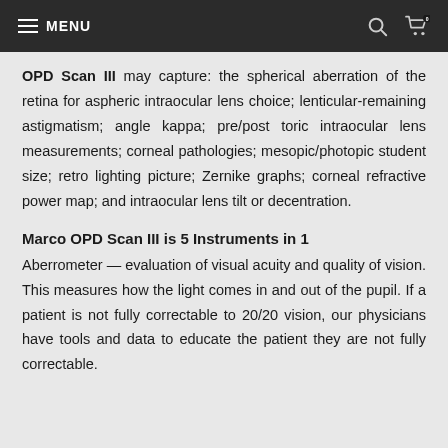≡ MENU
OPD Scan III may capture: the spherical aberration of the retina for aspheric intraocular lens choice; lenticular-remaining astigmatism; angle kappa; pre/post toric intraocular lens measurements; corneal pathologies; mesopic/photopic student size; retro lighting picture; Zernike graphs; corneal refractive power map; and intraocular lens tilt or decentration.
Marco OPD Scan III is 5 Instruments in 1
Aberrometer — evaluation of visual acuity and quality of vision. This measures how the light comes in and out of the pupil. If a patient is not fully correctable to 20/20 vision, our physicians have tools and data to educate the patient they are not fully correctable.